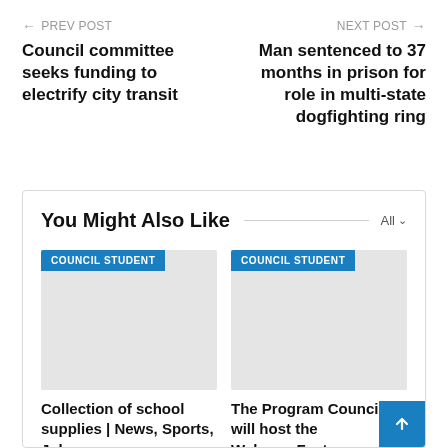← PREV POST
Council committee seeks funding to electrify city transit
NEXT POST →
Man sentenced to 37 months in prison for role in multi-state dogfighting ring
You Might Also Like
[Figure (photo): Gray placeholder image with COUNCIL STUDENT blue tag]
Collection of school supplies | News, Sports, Jobs
[Figure (photo): Gray placeholder image with COUNCIL STUDENT blue tag]
The Program Council will host the WelcomeFest concert on August 20